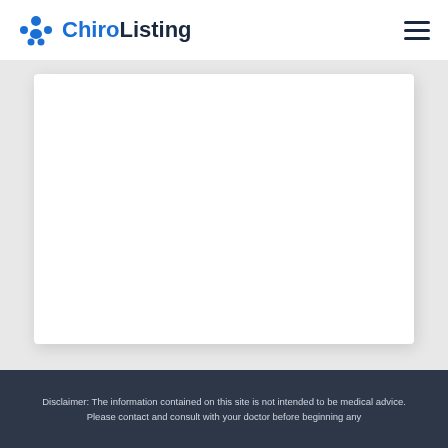ChiroListing
[Figure (other): White card/content area placeholder on light grey background]
Disclaimer: The information contained on this site is not intended to be medical advice. Please contact and consult with your doctor before beginning any